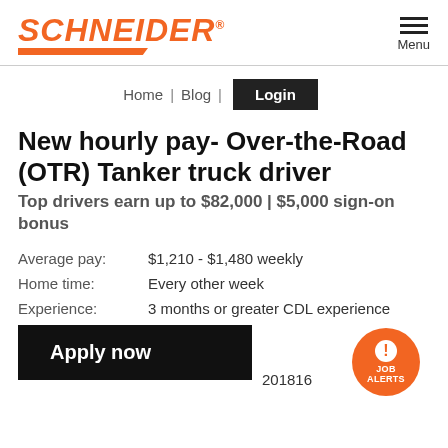[Figure (logo): Schneider logo in orange italic bold text with orange bar underneath and registered trademark symbol]
New hourly pay- Over-the-Road (OTR) Tanker truck driver
Top drivers earn up to $82,000 | $5,000 sign-on bonus
Average pay: $1,210 - $1,480 weekly
Home time: Every other week
Experience: 3 months or greater CDL experience
201816